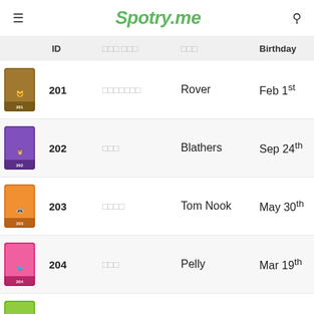Spotry.me
|  | ID | 한국어 이름 | 영어 | Birthday |
| --- | --- | --- | --- | --- |
| [img] | 201 | 미스테리오 | Rover | Feb 1st |
| [img] | 202 | 부엉이 | Blathers | Sep 24th |
| [img] | 203 | 너굴상점 | Tom Nook | May 30th |
| [img] | 204 | 페리 | Pelly | Mar 19th |
| [img] | 205 | 페트리 | Phyllis | Nov 21st |
| [img] | 206 | □□□ | Pete | Mar 8th |